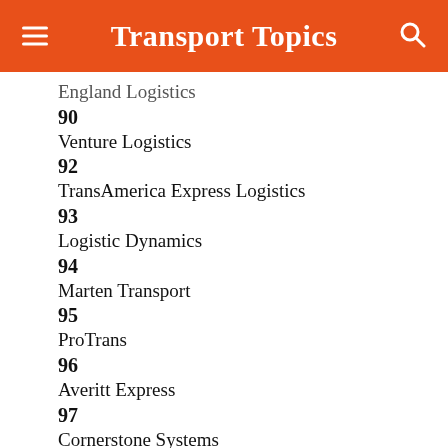Transport Topics
England Logistics
90
Venture Logistics
92
TransAmerica Express Logistics
93
Logistic Dynamics
94
Marten Transport
95
ProTrans
96
Averitt Express
97
Cornerstone Systems
98
Magellan Transport Logistics
99